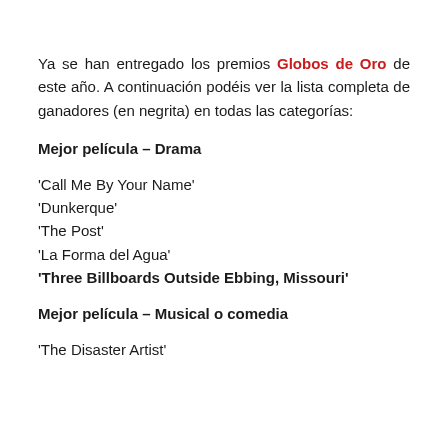Ya se han entregado los premios Globos de Oro de este año. A continuación podéis ver la lista completa de ganadores (en negrita) en todas las categorías:
Mejor película – Drama
'Call Me By Your Name'
'Dunkerque'
'The Post'
'La Forma del Agua'
'Three Billboards Outside Ebbing, Missouri'
Mejor película – Musical o comedia
'The Disaster Artist'